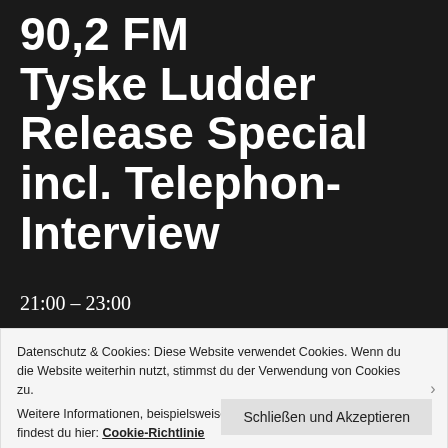90,2 FM Tyske Ludder Release Special incl. Telephon-Interview
21:00 – 23:00
Tyske Ludder – Frya Fresena
à;GRUMH... – Ha People
Tyske Ludder – Shokkz
Datenschutz & Cookies: Diese Website verwendet Cookies. Wenn du die Website weiterhin nutzt, stimmst du der Verwendung von Cookies zu. Weitere Informationen, beispielsweise zur Kontrolle von Cookies, findest du hier: Cookie-Richtlinie
Schließen und Akzeptieren